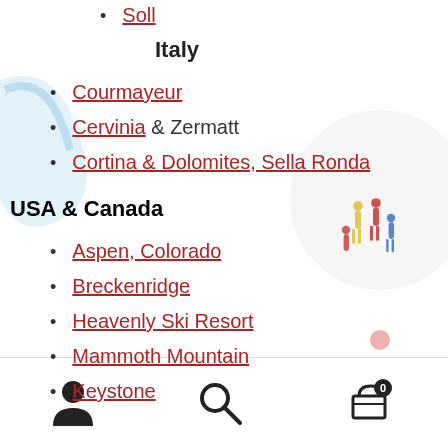Soll
Italy
Courmayeur
Cervinia & Zermatt
Cortina & Dolomites, Sella Ronda
USA & Canada
Aspen, Colorado
Breckenridge
Heavenly Ski Resort
Mammoth Mountain
Keystone
User | Search | Cart (0)